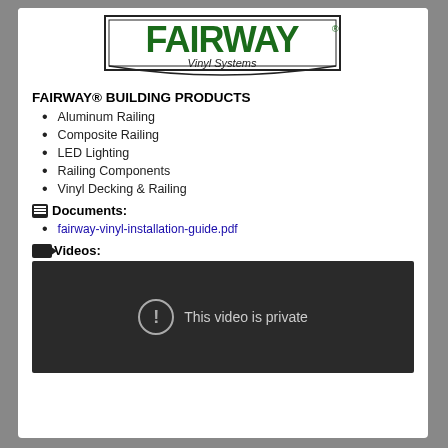[Figure (logo): Fairway Vinyl Systems logo — green FAIRWAY text in rectangular frame with 'Vinyl Systems' below]
FAIRWAY® BUILDING PRODUCTS
Aluminum Railing
Composite Railing
LED Lighting
Railing Components
Vinyl Decking & Railing
Documents:
fairway-vinyl-installation-guide.pdf
Videos:
[Figure (screenshot): Video player showing 'This video is private' message on dark background]